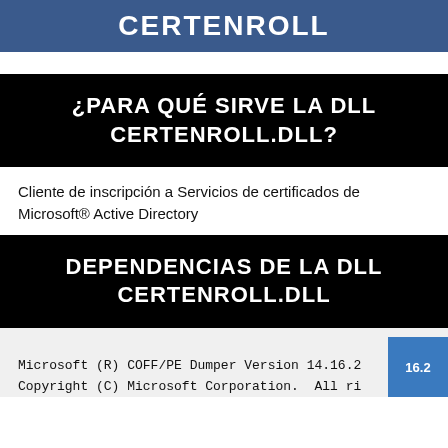CERTENROLL
¿PARA QUÉ SIRVE LA DLL CERTENROLL.DLL?
Cliente de inscripción a Servicios de certificados de Microsoft® Active Directory
DEPENDENCIAS DE LA DLL CERTENROLL.DLL
Microsoft (R) COFF/PE Dumper Version 14.16.2
Copyright (C) Microsoft Corporation.  All ri